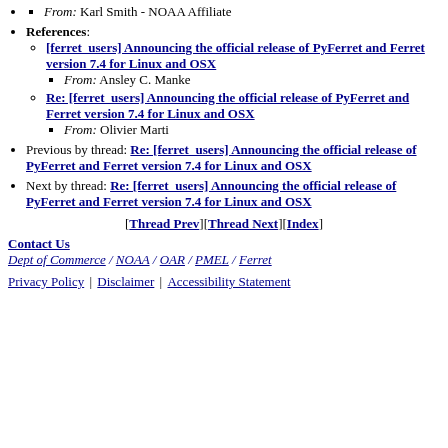From: Karl Smith - NOAA Affiliate
References:
[ferret_users] Announcing the official release of PyFerret and Ferret version 7.4 for Linux and OSX
From: Ansley C. Manke
Re: [ferret_users] Announcing the official release of PyFerret and Ferret version 7.4 for Linux and OSX
From: Olivier Marti
Previous by thread: Re: [ferret_users] Announcing the official release of PyFerret and Ferret version 7.4 for Linux and OSX
Next by thread: Re: [ferret_users] Announcing the official release of PyFerret and Ferret version 7.4 for Linux and OSX
[Thread Prev][Thread Next][Index]
Contact Us
Dept of Commerce / NOAA / OAR / PMEL / Ferret
Privacy Policy | Disclaimer | Accessibility Statement